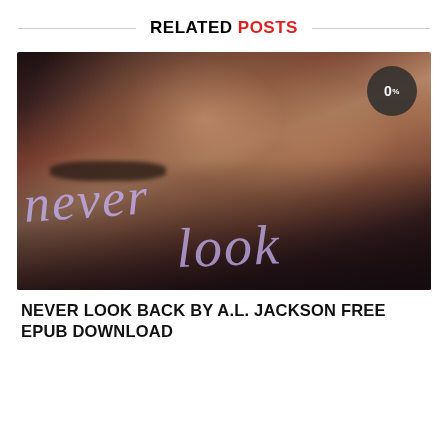RELATED POSTS
[Figure (photo): Book cover for 'Never Look Back' by A.L. Jackson showing an intimate embrace of two figures with script text 'never look' overlaid in purple/lavender cursive, with a '0%' badge in the top right corner on a dark background]
NEVER LOOK BACK BY A.L. JACKSON FREE EPUB DOWNLOAD